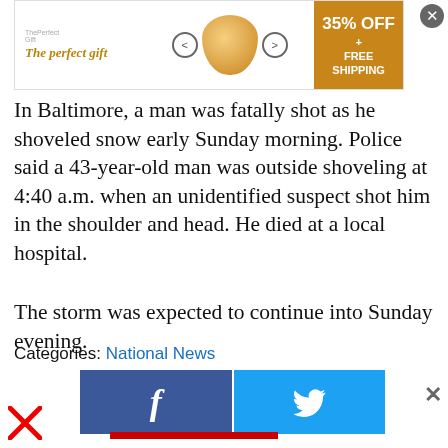[Figure (other): Advertisement banner: 'The perfect gift' with bowl image, 35% OFF + FREE SHIPPING offer]
In Baltimore, a man was fatally shot as he shoveled snow early Sunday morning. Police said a 43-year-old man was outside shoveling at 4:40 a.m. when an unidentified suspect shot him in the shoulder and head. He died at a local hospital.
The storm was expected to continue into Sunday evening.
Categories: National News
[Figure (other): Facebook and Twitter share buttons]